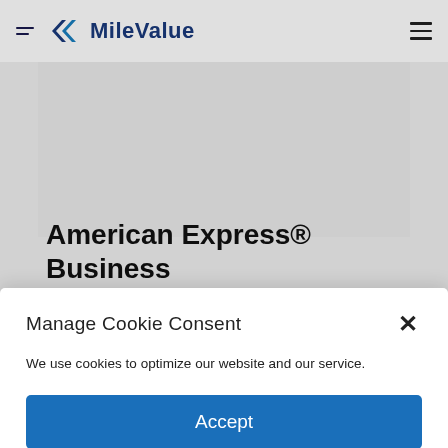MileValue
American Express® Business
LEARN MORE
Annual Fees and Perks
Manage Cookie Consent
We use cookies to optimize our website and our service.
Accept
Cookie Policy